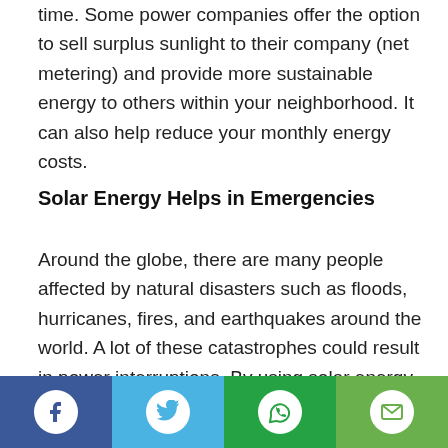time. Some power companies offer the option to sell surplus sunlight to their company (net metering) and provide more sustainable energy to others within your neighborhood. It can also help reduce your monthly energy costs.
Solar Energy Helps in Emergencies
Around the globe, there are many people affected by natural disasters such as floods, hurricanes, fires, and earthquakes around the world. A lot of these catastrophes could result in power interruptions. By using solar energy, you'll benefit the local economy by
Social share icons: Facebook, Twitter, WhatsApp, Email